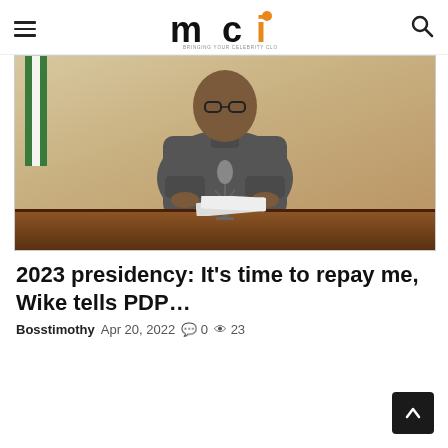MCI — Bringing your celebrity closer to you
[Figure (photo): A man in a grey traditional Nigerian outfit sitting behind a desk with a microphone, looking at the camera. A Nigerian flag is partially visible on the left. The desk has a dark wooden surface.]
2023 presidency: It's time to repay me, Wike tells PDP…
Bosstimothy  Apr 20, 2022  0  23